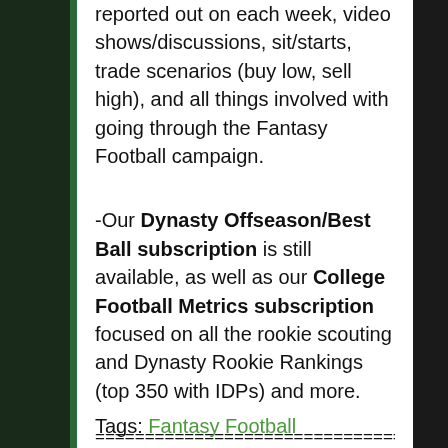reported out on each week, video shows/discussions, sit/starts, trade scenarios (buy low, sell high), and all things involved with going through the Fantasy Football campaign.
-Our Dynasty Offseason/Best Ball subscription is still available, as well as our College Football Metrics subscription focused on all the rookie scouting and Dynasty Rookie Rankings (top 350 with IDPs) and more.
=============================================
Tags: Fantasy Football